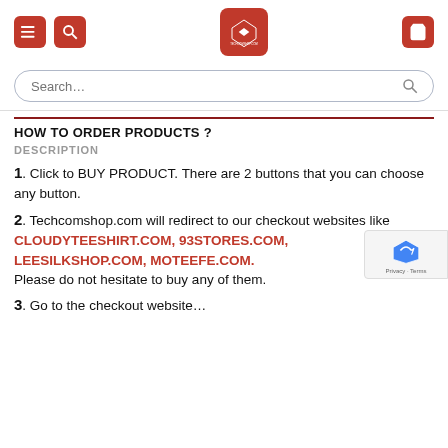Navigation bar with menu, search, logo, and cart icons
Search…
HOW TO ORDER PRODUCTS ?
DESCRIPTION
1. Click to BUY PRODUCT. There are 2 buttons that you can choose any button.
2. Techcomshop.com will redirect to our checkout websites like CLOUDYTEESHIRT.COM, 93STORES.COM, LEESILKSHOP.COM, MOTEEFE.COM. Please do not hesitate to buy any of them.
3. Go to the checkout website…